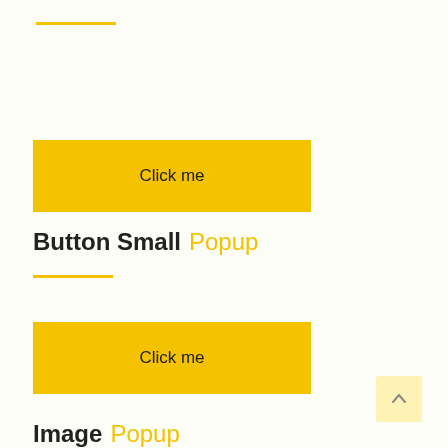[Figure (other): Yellow horizontal rule / decorative line near top]
[Figure (other): Yellow button labeled 'Click me']
Button Small Popup
[Figure (other): Yellow horizontal rule / decorative line below section header]
[Figure (other): Yellow button labeled 'Click me']
Image Popup
[Figure (other): Yellow horizontal rule / decorative line below Image Popup]
[Figure (other): Scroll-to-top button in bottom right corner]